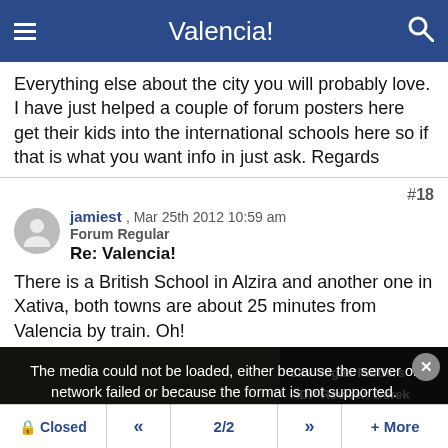Valencia!
Everything else about the city you will probably love. I have just helped a couple of forum posters here get their kids into the international schools here so if that is what you want info in just ask. Regards
#18
jamiest , Mar 25th 2012 10:59 am
Forum Regular
Re: Valencia!
There is a British School in Alzira and another one in Xativa, both towns are about 25 minutes from Valencia by train. Oh!
[Figure (screenshot): Media player overlay showing a football player silhouette with a media error message: 'The media could not be loaded, either because the server or network failed or because the format is not supported.' and text 'Las Vegas Raiders ADP Review: Derek Carr' visible on the right side.]
Closed  «  2/2  »  + More